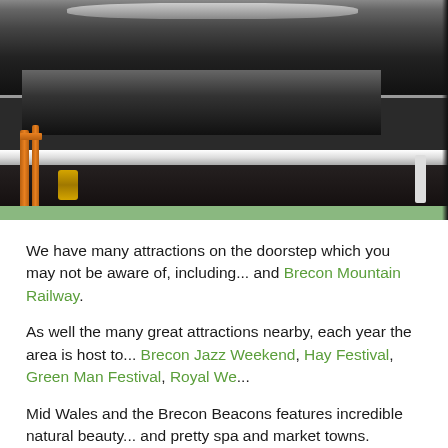[Figure (photo): Close-up photograph of steam locomotive undercarriage showing black boiler cylinders, a horizontal silver/white pipe, copper pipes on the left side, brass fittings, and dark undercarriage components.]
We have many attractions on the doorstep which you may not be aware of, including... and Brecon Mountain Railway.
As well the many great attractions nearby, each year the area is host to... Brecon Jazz Weekend, Hay Festival, Green Man Festival, Royal We...
Mid Wales and the Brecon Beacons features incredible natural beauty... and pretty spa and market towns.